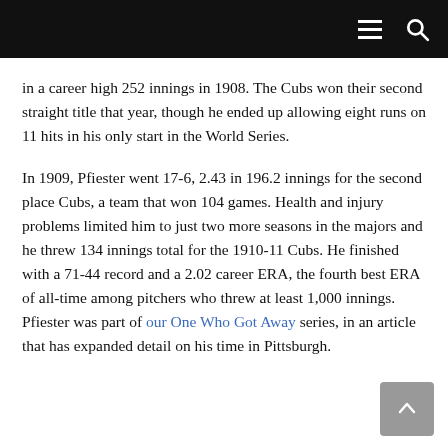Navigation bar with hamburger menu and search icon
in a career high 252 innings in 1908. The Cubs won their second straight title that year, though he ended up allowing eight runs on 11 hits in his only start in the World Series.
In 1909, Pfiester went 17-6, 2.43 in 196.2 innings for the second place Cubs, a team that won 104 games. Health and injury problems limited him to just two more seasons in the majors and he threw 134 innings total for the 1910-11 Cubs. He finished with a 71-44 record and a 2.02 career ERA, the fourth best ERA of all-time among pitchers who threw at least 1,000 innings. Pfiester was part of our One Who Got Away series, in an article that has expanded detail on his time in Pittsburgh.